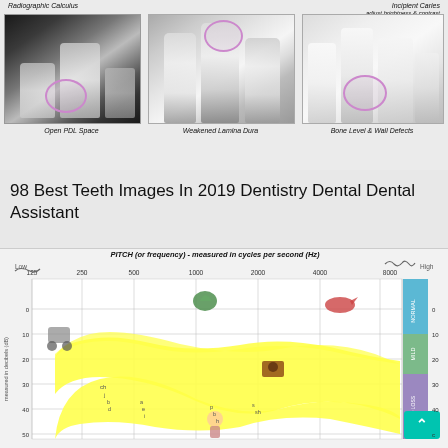[Figure (photo): Three dental X-ray images showing: Open PDL Space (left), Weakened Lamina Dura (middle), and Bone Level & Wall Defects (right). Top labels: Radiographic Calculus (left), Incipient Caries with 'adjust brightness & contrast' note (right). Each image has purple circle annotations.]
98 Best Teeth Images In 2019 Dentistry Dental Dental Assistant
[Figure (infographic): Audiogram/hearing chart showing the Speech Banana - a banana-shaped yellow region plotted on a grid with PITCH (or frequency) measured in cycles per second (Hz) on x-axis (125 to 8000 Hz) and hearing level measured in decibels (dB) on y-axis. Right side shows hearing loss classification bands: NORMAL, MILD, NO LOSS. Various illustrated icons of sounds/animals appear on the chart. Low and High labels shown with waveform illustrations at top.]